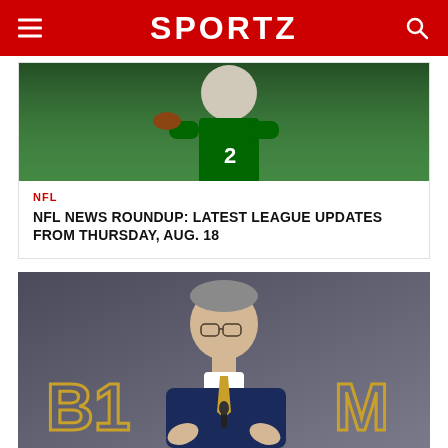SPORTZ
[Figure (photo): Football player in green jersey with number 2, throwing or holding a football]
NFL
NFL NEWS ROUNDUP: LATEST LEAGUE UPDATES FROM THURSDAY, AUG. 18
[Figure (photo): Man in blue suit with gold tie speaking at a podium, with Big Ten and Michigan M logos visible in background]